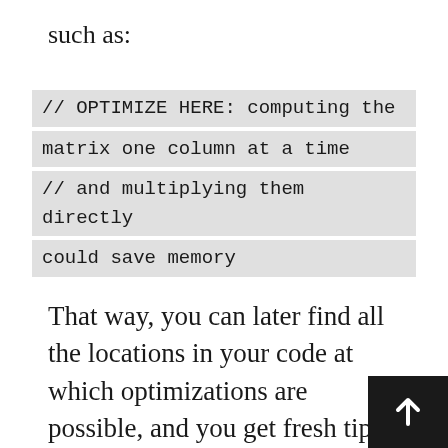such as:
// OPTIMIZE HERE: computing the matrix one column at a time // and multiplying them directly could save memory
That way, you can later find all the locations in your code at which optimizations are possible, and you get fresh tips on how to optimize. Once your implementation will be done, you will be able to find where to optimize by running a profiler such as Valgrind or whatever